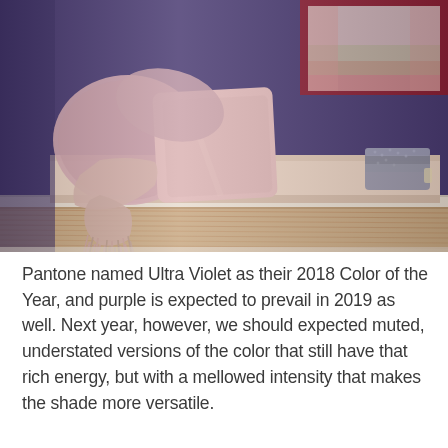[Figure (photo): Interior room photo showing a window seat bench with dusty pink/rose cushions and pillows against a deep purple/ultra violet wall. A blush pink fringed throw drapes over the bench. A maroon/red framed window with sheer pink curtains is visible in the upper right. A folded grey blanket sits on the right side of the bench. Wood flooring is visible at the bottom.]
Pantone named Ultra Violet as their 2018 Color of the Year, and purple is expected to prevail in 2019 as well. Next year, however, we should expected muted, understated versions of the color that still have that rich energy, but with a mellowed intensity that makes the shade more versatile.